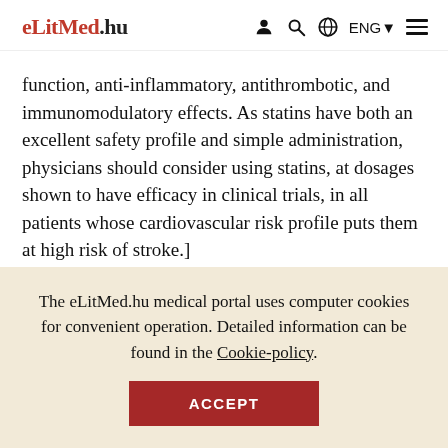eLitMed.hu  ENG
function, anti-inflammatory, antithrombotic, and immunomodulatory effects. As statins have both an excellent safety profile and simple administration, physicians should consider using statins, at dosages shown to have efficacy in clinical trials, in all patients whose cardiovascular risk profile puts them at high risk of stroke.]
The eLitMed.hu medical portal uses computer cookies for convenient operation. Detailed information can be found in the Cookie-policy.
ACCEPT